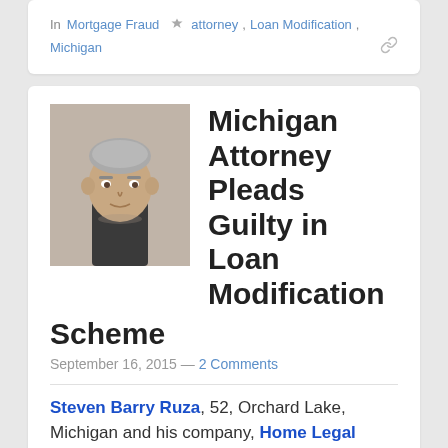In Mortgage Fraud  attorney, Loan Modification, Michigan
[Figure (photo): Mugshot of Steven Barry Ruza, a middle-aged man with grey hair wearing a dark shirt]
Michigan Attorney Pleads Guilty in Loan Modification Scheme
September 16, 2015 — 2 Comments
Steven Barry Ruza, 52, Orchard Lake, Michigan and his company, Home Legal Group, Inc., pled guilty to one count of Conducting a Criminal Enterprise. Ruza and his company were accused of stealing hundreds of thousands of dollars from Michigan residents that were facing mortgage